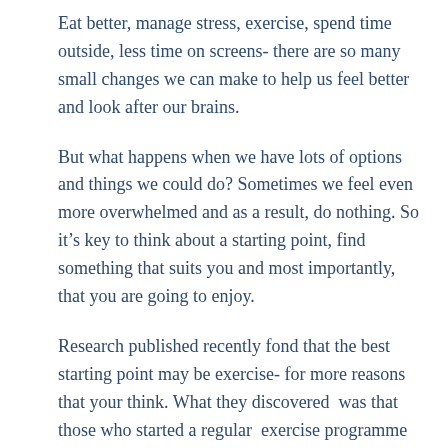Eat better, manage stress, exercise, spend time outside, less time on screens- there are so many small changes we can make to help us feel better and look after our brains.
But what happens when we have lots of options and things we could do? Sometimes we feel even more overwhelmed and as a result, do nothing. So it’s key to think about a starting point, find something that suits you and most importantly, that you are going to enjoy.
Research published recently fond that the best starting point may be exercise- for more reasons that your think. What they discovered  was that those who started a regular  exercise programme also went on to make changes in their diet as a matter of choice rather than seeing at as ‘ a diet to follow’.